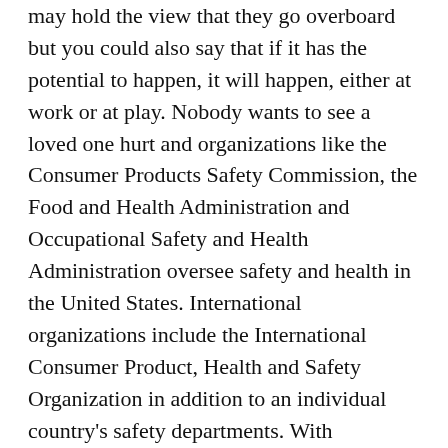may hold the view that they go overboard but you could also say that if it has the potential to happen, it will happen, either at work or at play. Nobody wants to see a loved one hurt and organizations like the Consumer Products Safety Commission, the Food and Health Administration and Occupational Safety and Health Administration oversee safety and health in the United States. International organizations include the International Consumer Product, Health and Safety Organization in addition to an individual country's safety departments. With procedures and equipment in place like fall restraints, harnesses and safety glasses, the labor force is more secure and protected than ever. Lately work place violence has been in the news but that has always been a danger due to personalities and conflict issues. Stress will always be a part of everyday life. Making sure one takes care of a family's health and well-being tends to do that to someone.